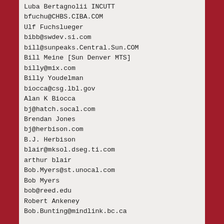Luba Bertagnolii INCUTT
bfuchu@CHBS.CIBA.COM
Ulf Fuchslueger
bibb@swdev.si.com
bill@sunpeaks.Central.Sun.COM
Bill Meine [Sun Denver MTS]
billy@mix.com
Billy Youdelman
biocca@csg.lbl.gov
Alan K Biocca
bj@hatch.socal.com
Brendan Jones
bj@herbison.com
B.J. Herbison
blair@mksol.dseg.ti.com
arthur blair
Bob.Myers@st.unocal.com
Bob Myers
bob@reed.edu
Robert Ankeney
Bob.Bunting@mindlink.bc.ca